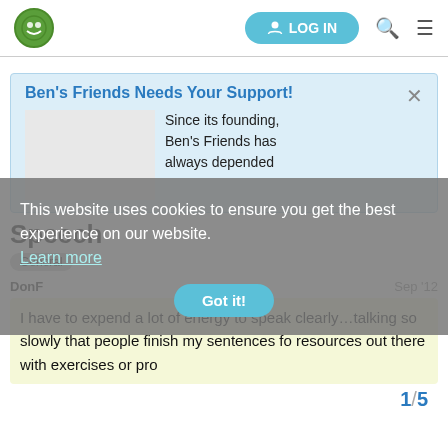LOG IN [search] [menu]
Ben's Friends Needs Your Support!
Since its founding, Ben's Friends has always depended
Speech
General
DonF  Sep '12
I have to expend a lot of energy to speak clearly...talking so slowly that people finish my sentences fo resources out there with exercises or pro
This website uses cookies to ensure you get the best experience on our website.
Learn more
Got it!
1 / 5